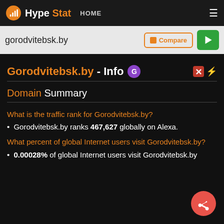HypeStat HOME
gorodvitebsk.by
Gorodvitebsk.by - Info
Domain Summary
What is the traffic rank for Gorodvitebsk.by?
Gorodvitebsk.by ranks 467,627 globally on Alexa.
What percent of global Internet users visit Gorodvitebsk.by?
0.00028% of global Internet users visit Gorodvitebsk.by